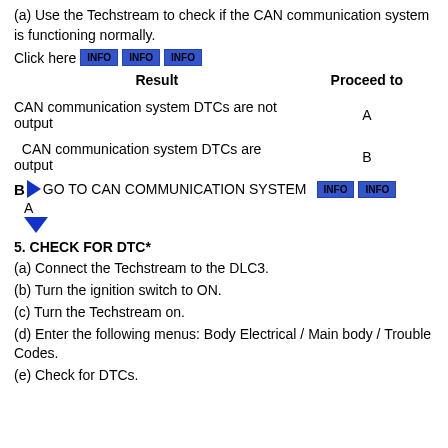(a) Use the Techstream to check if the CAN communication system is functioning normally.
Click here [INFO] [INFO] [INFO]
| Result | Proceed to |
| --- | --- |
| CAN communication system DTCs are not output | A |
| CAN communication system DTCs are output | B |
B► GO TO CAN COMMUNICATION SYSTEM [INFO] [INFO]
A ▼
5. CHECK FOR DTC*
(a) Connect the Techstream to the DLC3.
(b) Turn the ignition switch to ON.
(c) Turn the Techstream on.
(d) Enter the following menus: Body Electrical / Main body / Trouble Codes.
(e) Check for DTCs.